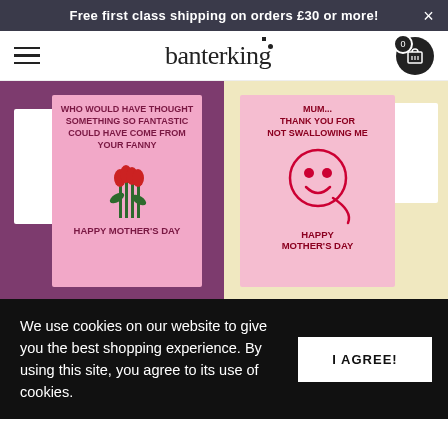Free first class shipping on orders £30 or more! ×
[Figure (logo): Banterking logo with hamburger menu and cart icon]
[Figure (photo): Two humorous Mother's Day greeting cards. Left card on purple background: pink card reads 'WHO WOULD HAVE THOUGHT SOMETHING SO FANTASTIC COULD HAVE COME FROM YOUR FANNY' with tulips illustration and 'HAPPY MOTHER'S DAY'. Right card on yellow background: pink card reads 'MUM... THANK YOU FOR NOT SWALLOWING ME' with sperm smiley face illustration and 'HAPPY MOTHER'S DAY'.]
We use cookies on our website to give you the best shopping experience. By using this site, you agree to its use of cookies.